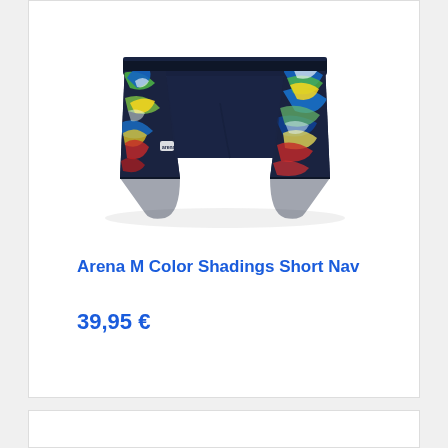[Figure (photo): Arena M Color Shadings Short Nav swimwear product photo. Dark navy blue swim shorts with colorful abstract paint-splash pattern on the sides featuring blue, green, yellow, red, and white brush strokes.]
Arena M Color Shadings Short Nav
39,95 €